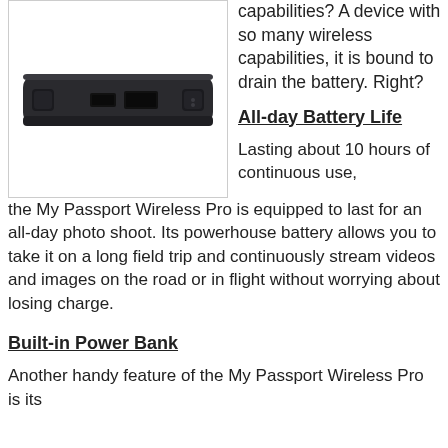[Figure (photo): Bottom view of a black WD My Passport Wireless Pro portable hard drive showing ports including micro-USB and USB on the edge]
capabilities? A device with so many wireless capabilities, it is bound to drain the battery. Right?
All-day Battery Life
Lasting about 10 hours of continuous use, the My Passport Wireless Pro is equipped to last for an all-day photo shoot. Its powerhouse battery allows you to take it on a long field trip and continuously stream videos and images on the road or in flight without worrying about losing charge.
Built-in Power Bank
Another handy feature of the My Passport Wireless Pro is its